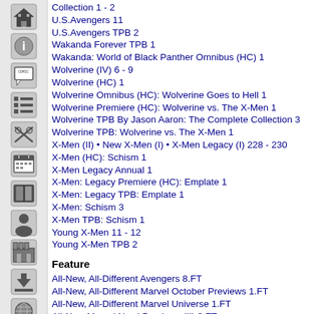Collection 1 - 2
U.S.Avengers 11
U.S.Avengers TPB 2
Wakanda Forever TPB 1
Wakanda: World of Black Panther Omnibus (HC) 1
Wolverine (IV) 6 - 9
Wolverine (HC) 1
Wolverine Omnibus (HC): Wolverine Goes to Hell 1
Wolverine Premiere (HC): Wolverine vs. The X-Men 1
Wolverine TPB By Jason Aaron: The Complete Collection 3
Wolverine TPB: Wolverine vs. The X-Men 1
X-Men (II) • New X-Men (I) • X-Men Legacy (I) 228 - 230
X-Men (HC): Schism 1
X-Men Legacy Annual 1
X-Men: Legacy Premiere (HC): Emplate 1
X-Men: Legacy TPB: Emplate 1
X-Men: Schism 3
X-Men TPB: Schism 1
Young X-Men 11 - 12
Young X-Men TPB 2
Feature
All-New, All-Different Avengers 8.FT
All-New, All-Different Marvel October Previews 1.FT
All-New, All-Different Marvel Universe 1.FT
All-New Marvel Now! Previews (II) 3.FT
Anita Blake, Vampire Hunter: Guilty Pleasures 11.FT
Avengers (V) 17.FT - 20.FT, 23.FT, 24.1.FT